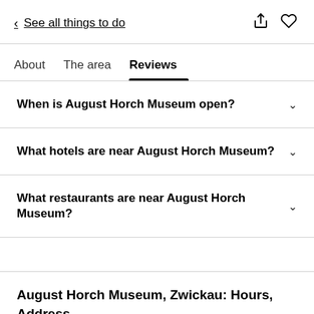< See all things to do
About   The area   Reviews
When is August Horch Museum open?
What hotels are near August Horch Museum?
What restaurants are near August Horch Museum?
August Horch Museum, Zwickau: Hours, Address, August Horch Museum Reviews: 5/5